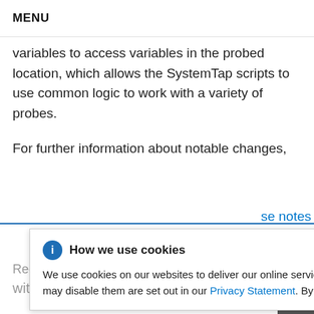MENU
variables to access variables in the probed location, which allows the SystemTap scripts to use common logic to work with a variety of probes.
For further information about notable changes,
se notes
[Figure (screenshot): Cookie consent banner with title 'How we use cookies', close button (×), and body text: 'We use cookies on our websites to deliver our online services. Details about how we use cookies and how you may disable them are set out in our Privacy Statement. By using this website you agree to our use of cookies.']
Red Hat Developer Toolset 10.0 is distributed with Valgrind 3.16.1